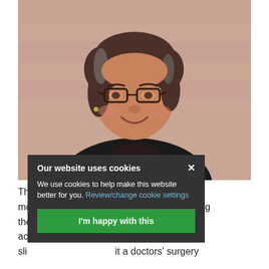[Figure (photo): Portrait photo of a middle-aged woman with short brown hair, glasses, wearing a black cardigan over a black-and-white patterned blouse, smiling at the camera against a blurred pink/beige background.]
Our website uses cookies
We use cookies to help make this website better for you. Review/change cookie settings
I'm happy with this
Th[...] s not news; that mo[...] an instead of asking the[...] y diets available ac[...] , plus traditional sli[...] it a doctors' surgery